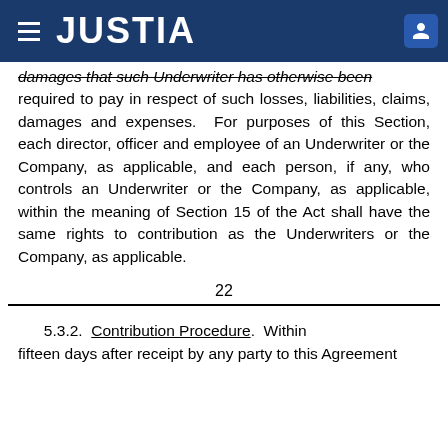JUSTIA
damages that such Underwriter has otherwise been required to pay in respect of such losses, liabilities, claims, damages and expenses.  For purposes of this Section, each director, officer and employee of an Underwriter or the Company, as applicable, and each person, if any, who controls an Underwriter or the Company, as applicable, within the meaning of Section 15 of the Act shall have the same rights to contribution as the Underwriters or the Company, as applicable.
22
5.3.2.  Contribution Procedure.  Within fifteen days after receipt by any party to this Agreement